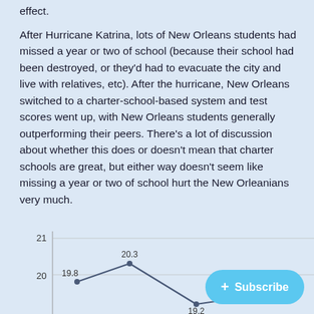effect.

After Hurricane Katrina, lots of New Orleans students had missed a year or two of school (because their school had been destroyed, or they'd had to evacuate the city and live with relatives, etc). After the hurricane, New Orleans switched to a charter-school-based system and test scores went up, with New Orleans students generally outperforming their peers. There's a lot of discussion about whether this does or doesn't mean that charter schools are great, but either way doesn't seem like missing a year or two of school hurt the New Orleanians very much.
[Figure (line-chart): Partial line chart showing values around 19-21, with points labeled 19.8, 20.3, 19.2, 19.4, y-axis shows 20 and 21]